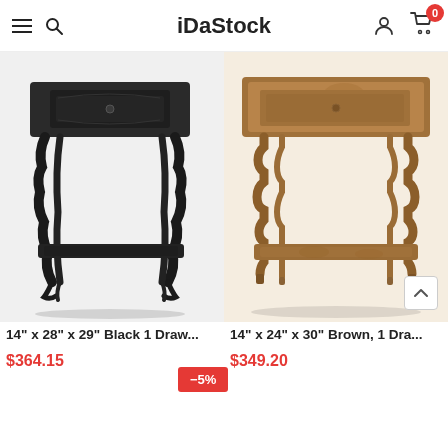iDaStock
[Figure (photo): Black ornate 1-drawer side table with carved legs and lower shelf]
14" x 28" x 29" Black 1 Draw...
$364.15
[Figure (photo): Brown wooden 1-drawer side table with turned legs and lower shelf]
14" x 24" x 30" Brown, 1 Dra...
$349.20
-5%